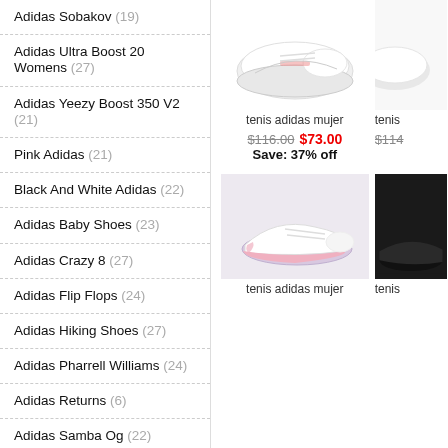Adidas Sobakov (19)
Adidas Ultra Boost 20 Womens (27)
Adidas Yeezy Boost 350 V2 (21)
Pink Adidas (21)
Black And White Adidas (22)
Adidas Baby Shoes (23)
Adidas Crazy 8 (27)
Adidas Flip Flops (24)
Adidas Hiking Shoes (27)
Adidas Pharrell Williams (24)
Adidas Returns (6)
Adidas Samba Og (22)
Adidas Skateboarding (20)
Adidas Slide Sandals (24)
Adidas Star Wars Shoes (20)
[Figure (photo): White Adidas sneakers (tenis adidas mujer) product photo on white background]
tenis adidas mujer
tenis
$116.00  $73.00  Save: 37% off
$114
[Figure (photo): White and pink Adidas sneakers (tenis adidas mujer) product photo on light grey background]
tenis adidas mujer
tenis